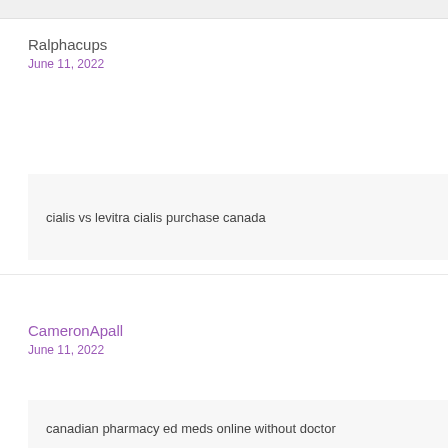Ralphacups
June 11, 2022
cialis vs levitra cialis purchase canada
CameronApall
June 11, 2022
canadian pharmacy ed meds online without doctor